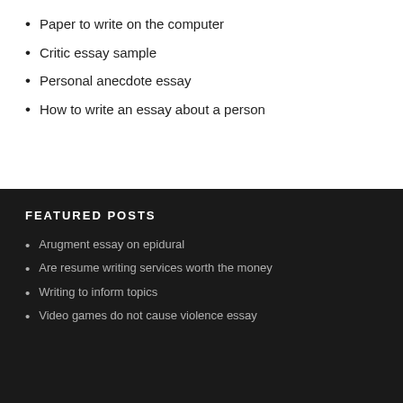Paper to write on the computer
Critic essay sample
Personal anecdote essay
How to write an essay about a person
FEATURED POSTS
Arugment essay on epidural
Are resume writing services worth the money
Writing to inform topics
Video games do not cause violence essay